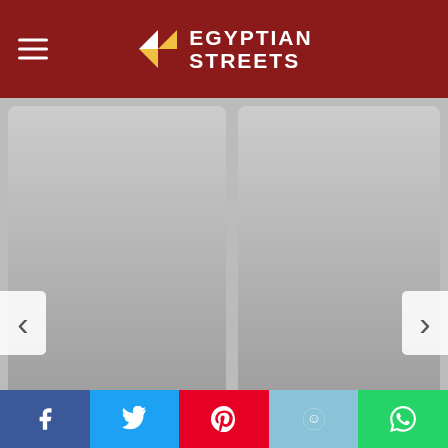Egyptian Streets
[Figure (screenshot): Carousel with two article cards: 'From War to Rejection: The Perilous ...' (rs ago • 7 comments) and 'Egypt Slams Israeli Storming Raid on ...' (7 years ago • 1 comm...) with left/right navigation arrows]
Sponsored
[Figure (photo): Dark background photo of a green drink/liquid splashing into a glass, with partial text overlay at bottom]
[Figure (infographic): Social share bar with Facebook, Twitter, Pinterest, Reddit, and WhatsApp buttons]